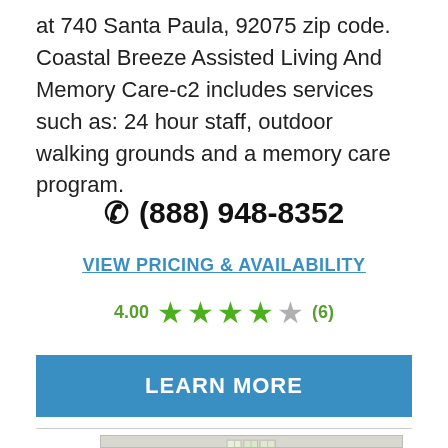at 740 Santa Paula, 92075 zip code. Coastal Breeze Assisted Living And Memory Care-c2 includes services such as: 24 hour staff, outdoor walking grounds and a memory care program.
(888) 948-8352
VIEW PRICING & AVAILABILITY
4.00 ★★★★☆ (6)
LEARN MORE
[Figure (photo): Partial view of a building exterior with large windows, partially visible at the bottom of the page]